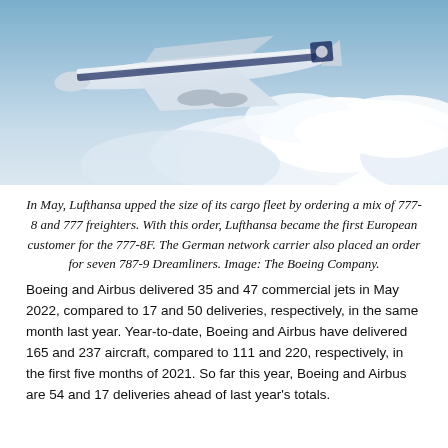[Figure (photo): Aerial photo of a Lufthansa Cargo freighter aircraft flying above clouds against a blue sky.]
In May, Lufthansa upped the size of its cargo fleet by ordering a mix of 777-8 and 777 freighters. With this order, Lufthansa became the first European customer for the 777-8F. The German network carrier also placed an order for seven 787-9 Dreamliners. Image: The Boeing Company.
Boeing and Airbus delivered 35 and 47 commercial jets in May 2022, compared to 17 and 50 deliveries, respectively, in the same month last year. Year-to-date, Boeing and Airbus have delivered 165 and 237 aircraft, compared to 111 and 220, respectively, in the first five months of 2021. So far this year, Boeing and Airbus are 54 and 17 deliveries ahead of last year's totals.